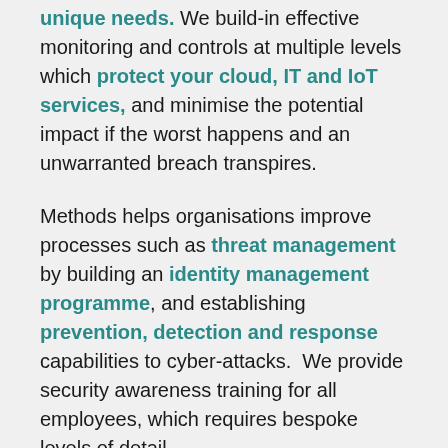unique needs. We build-in effective monitoring and controls at multiple levels which protect your cloud, IT and IoT services, and minimise the potential impact if the worst happens and an unwarranted breach transpires.
Methods helps organisations improve processes such as threat management by building an identity management programme, and establishing prevention, detection and response capabilities to cyber-attacks. We provide security awareness training for all employees, which requires bespoke levels of detail.
Our chief information security officer (CISO) as-a-service can build on or build your security programme